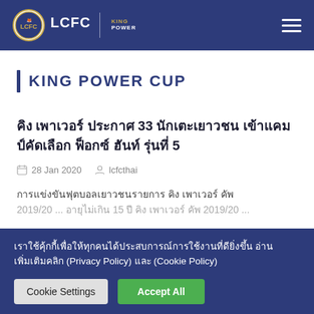LCFC | KING POWER
KING POWER CUP
คิง เพาเวอร์ ประกาศ 33 นักเตะเยาวชน เข้าแคมป์คัดเลือก ฟ็อกซ์ ฮันท์ รุ่นที่ 5
28 Jan 2020   lcfcthai
การแข่งขันฟุตบอลเยาวชนรายการ คิง เพาเวอร์ คัพ 2019/20 ...
เราใช้คุ้กกี้เพื่อให้ทุกคนได้ประสบการณ์การใช้งานที่ดียิ่งขึ้น อ่านเพิ่มเติมคลิก (Privacy Policy) และ (Cookie Policy)